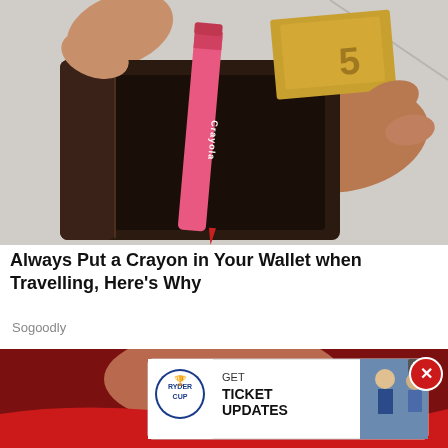[Figure (photo): A person holding open a dark leather wallet with a red Crayola crayon inserted inside, with some currency visible in the background.]
Always Put a Crayon in Your Wallet when Travelling, Here's Why
Sogoodly
[Figure (photo): Partial view of a person with a red background and a Ryder Cup advertisement overlay showing 'GET TICKET UPDATES' with a close button (X) in the corner.]